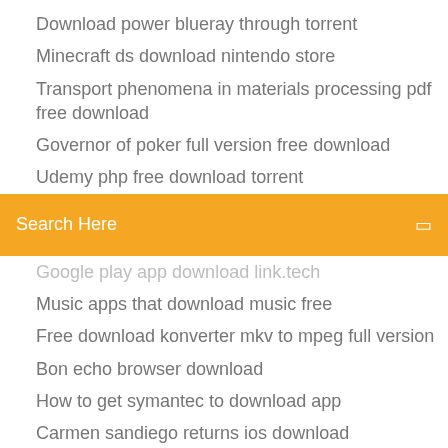Download power blueray through torrent
Minecraft ds download nintendo store
Transport phenomena in materials processing pdf free download
Governor of poker full version free download
Udemy php free download torrent
[Figure (screenshot): Orange search bar with text 'Search Here' and a small icon on the right]
Google play app download link.tech
Music apps that download music free
Free download konverter mkv to mpeg full version
Bon echo browser download
How to get symantec to download app
Carmen sandiego returns ios download
Android studio full version free download
Feral hosting download files
Outlook wont let me download js file
Warcraft 3 version 1.30 download tft zip
Ralink 5390 driver download